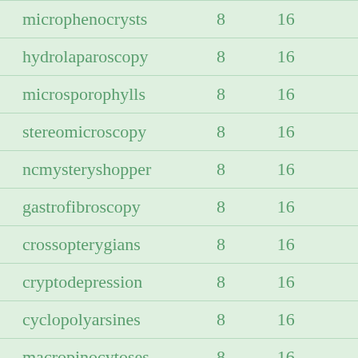| word | col1 | col2 |
| --- | --- | --- |
| microphenocrysts | 8 | 16 |
| hydrolaparoscopy | 8 | 16 |
| microsporophylls | 8 | 16 |
| stereomicroscopy | 8 | 16 |
| ncmysteryshopper | 8 | 16 |
| gastrofibroscopy | 8 | 16 |
| crossopterygians | 8 | 16 |
| cryptodepression | 8 | 16 |
| cyclopolyarsines | 8 | 16 |
| macropinocytoses | 8 | 16 |